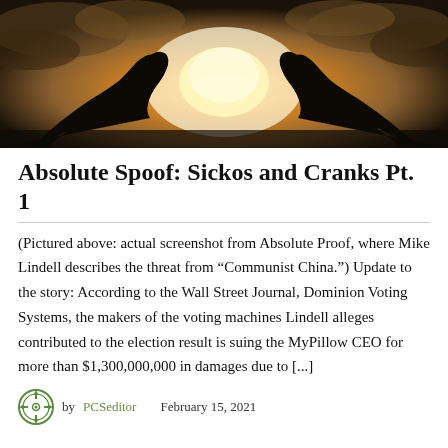[Figure (photo): Silhouette of two hands holding or connecting an object against a dramatic bright sky with clouds, warm golden light in the center]
Absolute Spoof: Sickos and Cranks Pt. 1
(Pictured above: actual screenshot from Absolute Proof, where Mike Lindell describes the threat from “Communist China.”) Update to the story: According to the Wall Street Journal, Dominion Voting Systems, the makers of the voting machines Lindell alleges contributed to the election result is suing the MyPillow CEO for more than $1,300,000,000 in damages due to [...]
by PCSeditor   February 15, 2021